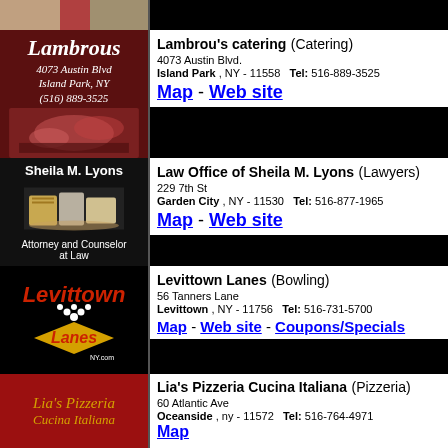[Figure (photo): Partial top image showing people in formal wear]
Lambrou's catering (Catering)
4073 Austin Blvd.
Island Park , NY - 11558   Tel: 516-889-3525
Map - Web site
[Figure (photo): Lambrous catering ad: dark red background with italic white text 'Lambrous', '4073 Austin Blvd', 'Island Park, NY', '(516) 889-3525' and food photo]
Law Office of Sheila M. Lyons (Lawyers)
229 7th St
Garden City , NY - 11530   Tel: 516-877-1965
Map - Web site
[Figure (photo): Sheila M. Lyons law office ad with white name, books image, 'Attorney and Counselor at Law']
Levittown Lanes (Bowling)
56 Tanners Lane
Levittown , NY - 11756   Tel: 516-731-5700
Map - Web site - Coupons/Specials
[Figure (logo): Levittown Lanes logo with bowling pins]
Lia's Pizzeria Cucina Italiana (Pizzeria)
60 Atlantic Ave
Oceanside , ny - 11572   Tel: 516-764-4971
Map